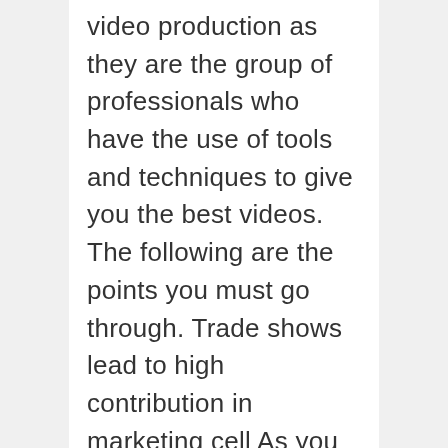video production as they are the group of professionals who have the use of tools and techniques to give you the best videos. The following are the points you must go through. Trade shows lead to high contribution in marketing cell As you know that the trade shows are the events in which the businesses of all the types participate to show their features and attributes to the audience. They can give you a massive benefit as you have incurred very less amount of money for getting involved in